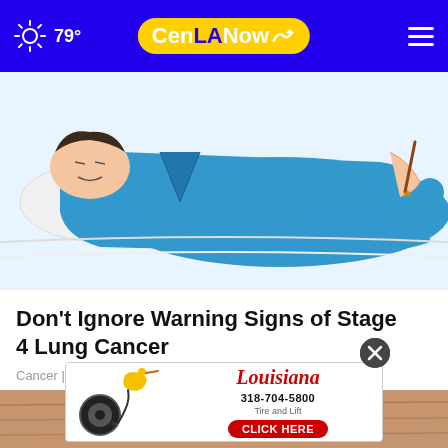79° CenLA Now
[Figure (illustration): Illustration of a person in blue clothing lying down, with another hand holding a pen or medical instrument near them]
Don't Ignore Warning Signs of Stage 4 Lung Cancer
Cancer | Sponsored Links
[Figure (photo): Close-up photo of a person's hand or foot on a wooden floor surface]
[Figure (infographic): Louisiana Tire and Lift advertisement banner: 318-704-5800, CLICK HERE]